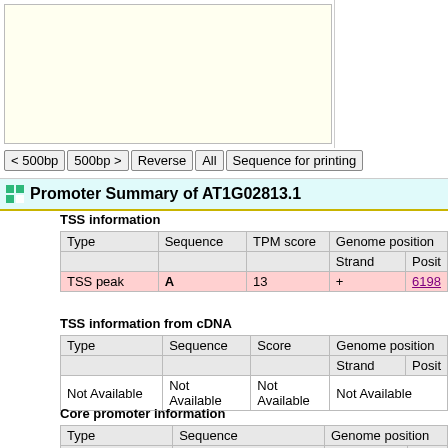[Figure (other): Top area with cream/ivory colored box on the left and white area on the right, representing a genomic browser or sequence viewer placeholder]
< 500bp | 500bp > | Reverse | All | Sequence for printing
Promoter Summary of AT1G02813.1
TSS information
| Type | Sequence | TPM score | Genome position |  |  |
| --- | --- | --- | --- | --- | --- |
|  |  |  | Strand | Posit |
| TSS peak | A | 13 | + | 6198... |
TSS information from cDNA
| Type | Sequence | Score | Genome position |  |
| --- | --- | --- | --- | --- |
|  |  |  | Strand | Posit |
| Not Available | Not Available | Not Available | Not Available |  |
Core promoter information
| Type | Sequence | Genome position |  |
| --- | --- | --- | --- |
|  |  | Strand | Start |
| initiator | Not Available | Not Available |  |